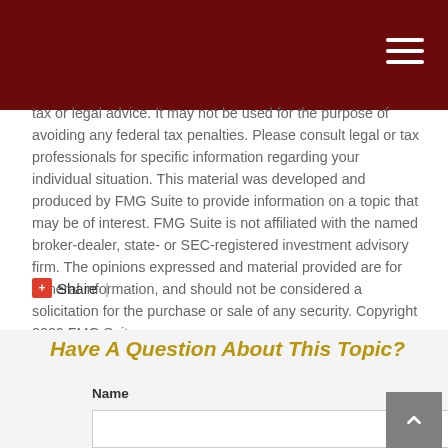tax or legal advice. It may not be used for the purpose of avoiding any federal tax penalties. Please consult legal or tax professionals for specific information regarding your individual situation. This material was developed and produced by FMG Suite to provide information on a topic that may be of interest. FMG Suite is not affiliated with the named broker-dealer, state- or SEC-registered investment advisory firm. The opinions expressed and material provided are for general information, and should not be considered a solicitation for the purchase or sale of any security. Copyright 2022 FMG Suite.
Share |
Have A Question About This Topic?
Name